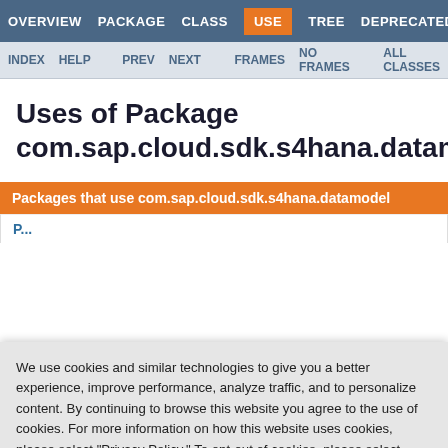OVERVIEW  PACKAGE  CLASS  USE  TREE  DEPRECATED
INDEX  HELP   PREV  NEXT      FRAMES  NO FRAMES      ALL CLASSES
Uses of Package com.sap.cloud.sdk.s4hana.datamodel
Packages that use com.sap.cloud.sdk.s4hana.datamodel
We use cookies and similar technologies to give you a better experience, improve performance, analyze traffic, and to personalize content. By continuing to browse this website you agree to the use of cookies. For more information on how this website uses cookies, please select "Privacy Policy." To opt-out of cookies, please select "More Information."
Accept Cookies
More Information
Privacy Policy | Powered by: TrustArc
FunctionResult